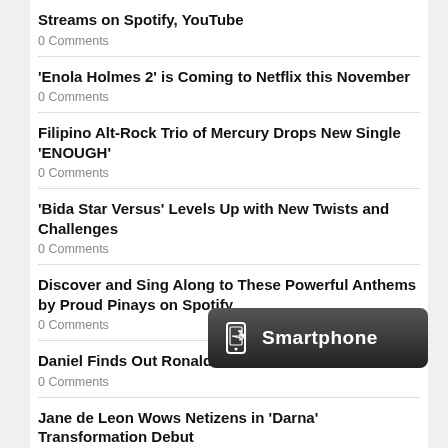Streams on Spotify, YouTube
0 Comments
'Enola Holmes 2' is Coming to Netflix this November
0 Comments
Filipino Alt-Rock Trio of Mercury Drops New Single 'ENOUGH'
0 Comments
'Bida Star Versus' Levels Up with New Twists and Challenges
0 Comments
Discover and Sing Along to These Powerful Anthems by Proud Pinays on Spotify
0 Comments
Daniel Finds Out Ronaldo is His Grandfather
0 Comments
Jane de Leon Wows Netizens in 'Darna' Transformation Debut
0 Comments
TV5 and ABS-CBN Deal Paused
1 Comment
[Figure (logo): Smartphone badge/button with phone icon and text 'Smartphone']